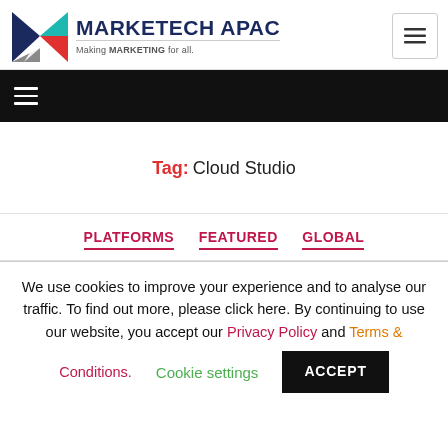[Figure (logo): Marketech APAC logo with geometric M icon in navy, teal, red, and gray, with tagline 'Making MARKETING for all.']
Tag: Cloud Studio
PLATFORMS  FEATURED  GLOBAL
We use cookies to improve your experience and to analyse our traffic. To find out more, please click here. By continuing to use our website, you accept our Privacy Policy and Terms & Conditions.
Cookie settings  ACCEPT